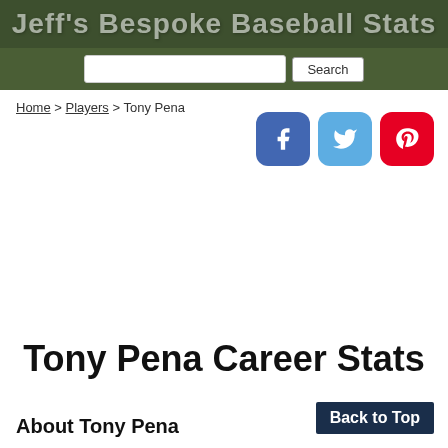Jeff's Bespoke Baseball Stats
Search
Home > Players > Tony Pena
Tony Pena Career Stats
About Tony Pena
Back to Top